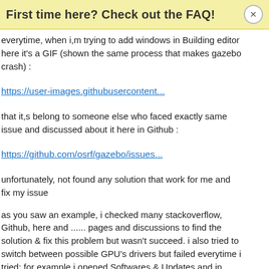First time here? Check out the FAQ!
everytime, when i,m trying to add windows in Building editor here it's a GIF (shown the same process that makes gazebo crash) :
https://user-images.githubusercontent...
that it,s belong to someone else who faced exactly same issue and discussed about it here in Github :
https://github.com/osrf/gazebo/issues...
unfortunately, not found any solution that work for me and fix my issue
as you saw an example, i checked many stackoverflow, Github, here and ...... pages and discussions to find the solution & fix this problem but wasn't succeed. i also tried to switch between possible GPU's drivers but failed everytime i tried; for example i opened Softwares & Updates and in Additional Drivers i have two optional driver for GPU as you can see below :